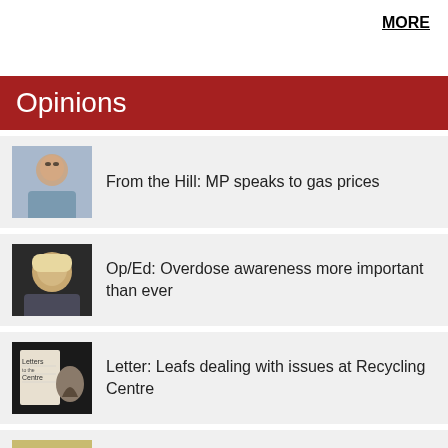MORE
Opinions
From the Hill: MP speaks to gas prices
Op/Ed: Overdose awareness more important than ever
Letter: Leafs dealing with issues at Recycling Centre
The concerning rise of corporate medicine